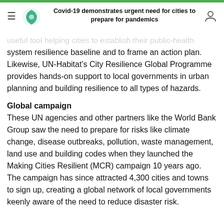Covid-19 demonstrates urgent need for cities to prepare for pandemics
the D... useful tool helping cities to establish their public-health system resilience baseline and to frame an action plan. Likewise, UN-Habitat's City Resilience Global Programme provides hands-on support to local governments in urban planning and building resilience to all types of hazards.
Global campaign
These UN agencies and other partners like the World Bank Group saw the need to prepare for risks like climate change, disease outbreaks, pollution, waste management, land use and building codes when they launched the Making Cities Resilient (MCR) campaign 10 years ago. The campaign has since attracted 4,300 cities and towns to sign up, creating a global network of local governments keenly aware of the need to reduce disaster risk.